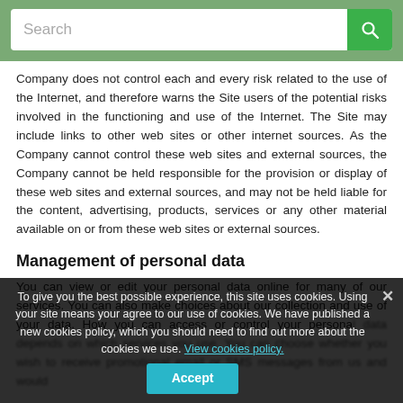[Figure (screenshot): Search bar with green background and green search button with magnifying glass icon]
Company does not control each and every risk related to the use of the Internet, and therefore warns the Site users of the potential risks involved in the functioning and use of the Internet. The Site may include links to other web sites or other internet sources. As the Company cannot control these web sites and external sources, the Company cannot be held responsible for the provision or display of these web sites and external sources, and may not be held liable for the content, advertising, products, services or any other material available on or from these web sites or external sources.
Management of personal data
You can view or edit your personal data online for many of our services. You can also make choices about our collection and use of your data. How you can access or control your personal data depends on which services you use. You can choose whether you wish to receive promotional email or SMS messages from us and would
To give you the best possible experience, this site uses cookies. Using your site means your agree to our use of cookies. We have published a new cookies policy, which you should need to find out more about the cookies we use. View cookies policy. Accept